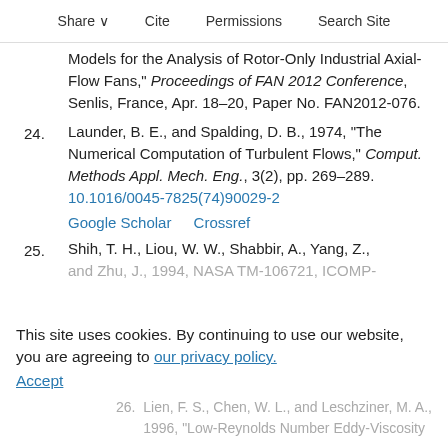Share  Cite  Permissions  Search Site
Models for the Analysis of Rotor-Only Industrial Axial-Flow Fans," Proceedings of FAN 2012 Conference, Senlis, France, Apr. 18–20, Paper No. FAN2012-076.
24. Launder, B. E., and Spalding, D. B., 1974, "The Numerical Computation of Turbulent Flows," Comput. Methods Appl. Mech. Eng., 3(2), pp. 269–289. 10.1016/0045-7825(74)90029-2
Google Scholar  Crossref
25. Shih, T. H., Liou, W. W., Shabbir, A., Yang, Z., and Zhu, J., 1994, NASA TM-106721, ICOMP-
26. Lien, F. S., Chen, W. L., and Leschziner, M. A., 1996, "Low-Reynolds Number Eddy-Viscosity
This site uses cookies. By continuing to use our website, you are agreeing to our privacy policy. Accept